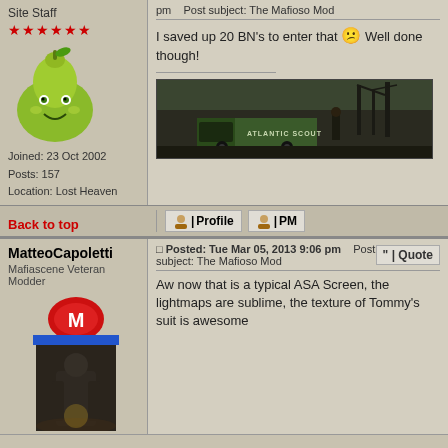Site Staff
[Figure (illustration): Smiling pear avatar]
Joined: 23 Oct 2002
Posts: 157
Location: Lost Heaven
141 Bank Notes
Items
pm   Post subject: The Mafioso Mod
I saved up 20 BN's to enter that 😕 Well done though!
[Figure (screenshot): Game screenshot showing a green truck labeled ATLANTIC SCOUT in a port/industrial area with the text DELIRIAK in the bottom right]
Back to top
Profile   PM
MatteoCapoletti
Mafiascene Veteran Modder
Posted: Tue Mar 05, 2013 9:06 pm   Post subject: The Mafioso Mod
[Figure (illustration): Red badge with M letter, avatar showing a dark silhouette figure in rain]
Aw now that is a typical ASA Screen, the lightmaps are sublime, the texture of Tommy's suit is awesome